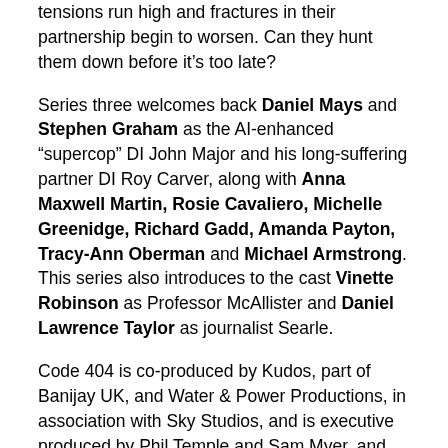tensions run high and fractures in their partnership begin to worsen. Can they hunt them down before it's too late?
Series three welcomes back Daniel Mays and Stephen Graham as the AI-enhanced "supercop" DI John Major and his long-suffering partner DI Roy Carver, along with Anna Maxwell Martin, Rosie Cavaliero, Michelle Greenidge, Richard Gadd, Amanda Payton, Tracy-Ann Oberman and Michael Armstrong. This series also introduces to the cast Vinette Robinson as Professor McAllister and Daniel Lawrence Taylor as journalist Searle.
Code 404 is co-produced by Kudos, part of Banijay UK, and Water & Power Productions, in association with Sky Studios, and is executive produced by Phil Temple and Sam Myer, and Tom Miller as series producer. The series is written by Daniel Peak and directed by Al Campbell. The